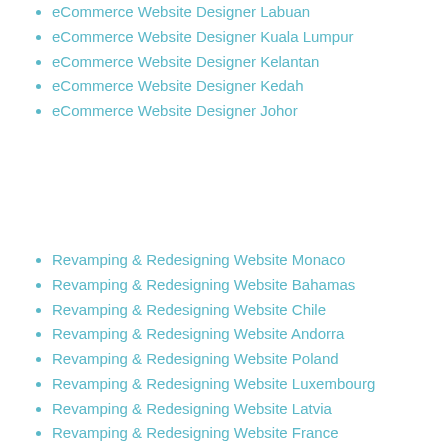eCommerce Website Designer Labuan
eCommerce Website Designer Kuala Lumpur
eCommerce Website Designer Kelantan
eCommerce Website Designer Kedah
eCommerce Website Designer Johor
Revamping & Redesigning Website Monaco
Revamping & Redesigning Website Bahamas
Revamping & Redesigning Website Chile
Revamping & Redesigning Website Andorra
Revamping & Redesigning Website Poland
Revamping & Redesigning Website Luxembourg
Revamping & Redesigning Website Latvia
Revamping & Redesigning Website France
Revamping & Redesigning Website Macau
Revamping & Redesigning Website Hong Kong
Revamping & Redesigning Website Qatar